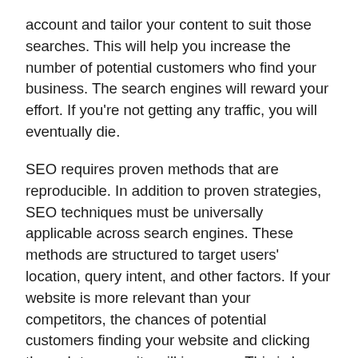account and tailor your content to suit those searches. This will help you increase the number of potential customers who find your business. The search engines will reward your effort. If you're not getting any traffic, you will eventually die.

SEO requires proven methods that are reproducible. In addition to proven strategies, SEO techniques must be universally applicable across search engines. These methods are structured to target users' location, query intent, and other factors. If your website is more relevant than your competitors, the chances of potential customers finding your website and clicking through to your site will increase. This is how Search Engine Optimisation works. Your website can reach millions of potential customers using the right strategies.
Cost of SEO services in Australia